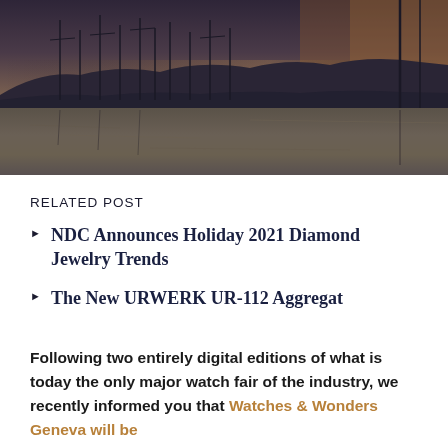[Figure (photo): Dusk/sunset photo of a marina with sailboat masts silhouetted against a dusky sky with mountains in the background and reflective water in the foreground]
RELATED POST
NDC Announces Holiday 2021 Diamond Jewelry Trends
The New URWERK UR-112 Aggregat
Following two entirely digital editions of what is today the only major watch fair of the industry, we recently informed you that Watches & Wonders Geneva will be